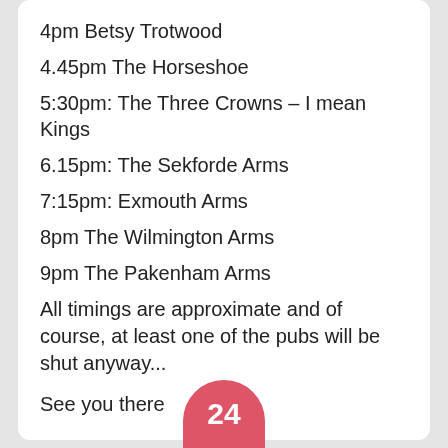4pm Betsy Trotwood
4.45pm The Horseshoe
5:30pm: The Three Crowns – I mean Kings
6.15pm: The Sekforde Arms
7:15pm: Exmouth Arms
8pm The Wilmington Arms
9pm The Pakenham Arms
All timings are approximate and of course, at least one of the pubs will be shut anyway...
See you there